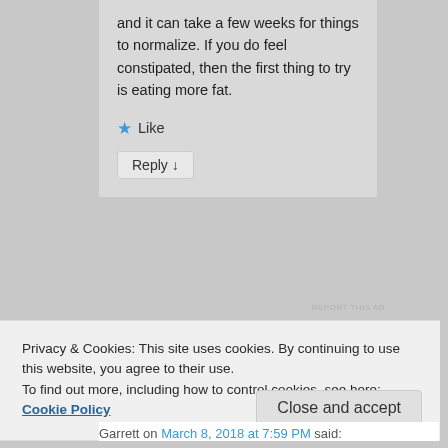and it can take a few weeks for things to normalize. If you do feel constipated, then the first thing to try is eating more fat.
Like
Reply ↓
REPORT THIS AD
Privacy & Cookies: This site uses cookies. By continuing to use this website, you agree to their use.
To find out more, including how to control cookies, see here: Cookie Policy
Close and accept
Garrett on March 8, 2018 at 7:59 PM said: